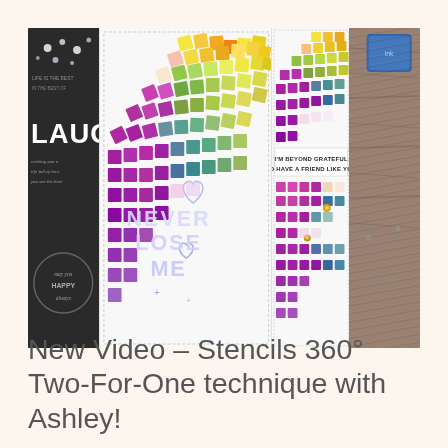[Figure (photo): A crafting photo collage showing handmade greeting cards using stencils with rainbow-colored square patterns (Stencils 360° technique). Left panel shows a dark card with LAUGH text; center panels show cards with colorful geometric mosaic squares in rainbow gradients with glitter 'NEVER LOSE ME' text and 'I'M BEYOND GRATEFUL TO HAVE A FRIEND LIKE YOU' sentiment; right panel shows craft supplies on wood surface including a blue ink pad and stencil tools.]
New Video – Stencils 360° Two-For-One technique with Ashley!